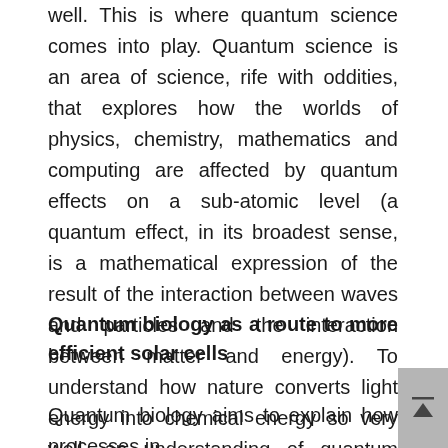well. This is where quantum science comes into play. Quantum science is an area of science, rife with oddities, that explores how the worlds of physics, chemistry, mathematics and computing are affected by quantum effects on a sub-atomic level (a quantum effect, in its broadest sense, is a mathematical expression of the result of the interaction between waves and particles and the interaction between matter and energy). To understand how nature converts light energy into chemical energy so very well, an understanding of quantum biology is required.
Quantum biology as a route to more efficient solar cells
Quantum biology aims to explain how processes in nature that have biological importance function at a quantum level.